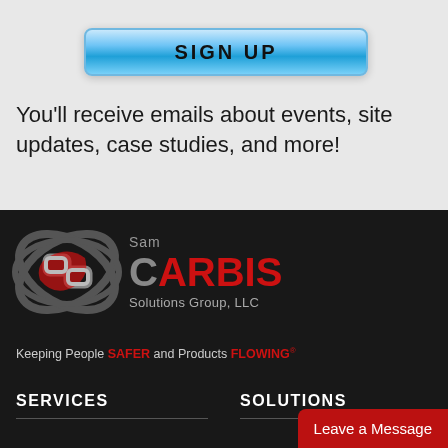[Figure (other): Blue gradient SIGN UP button]
You'll receive emails about events, site updates, case studies, and more!
[Figure (logo): Sam Carbis Solutions Group, LLC logo with spinning chain graphic and tagline: Keeping People SAFER and Products FLOWING]
SERVICES
SOLUTIONS
[Figure (other): Leave a Message button (red, bottom right)]